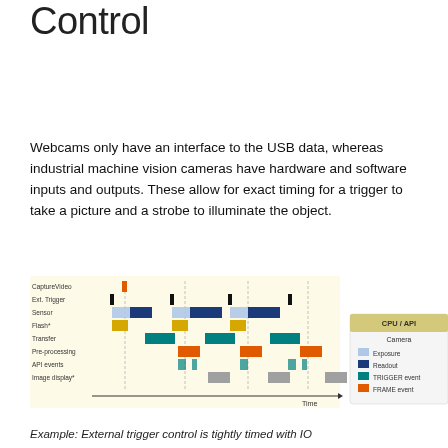Trigger and Strobe Control
Webcams only have an interface to the USB data, whereas industrial machine vision cameras have hardware and software inputs and outputs. These allow for exact timing for a trigger to take a picture and a strobe to illuminate the object.
[Figure (schematic): Timing diagram showing rows: CaptureVideo, Ext. Trigger, Sensor, Flash*, Transfer, Pre-processing, API events, Image display* plotted over time. Legend shows CPU/API and Camera categories with colored blocks: Exposure (light blue), Readout (dark blue), TRIGGER event (teal/orange), FRAME event (orange/red). A 'Time' arrow runs along the bottom.]
Example: External trigger control is tightly timed with IO